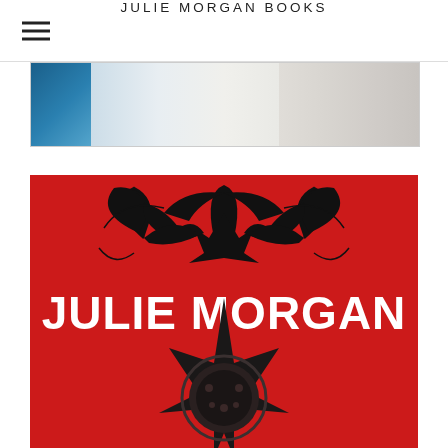JULIE MORGAN BOOKS
[Figure (photo): Partial book cover image showing blue fabric and white/gray background, cropped at top]
[Figure (illustration): Red book cover with black tribal design at top, large white bold text reading JULIE MORGAN, and a dark star/crown emblem at the bottom]